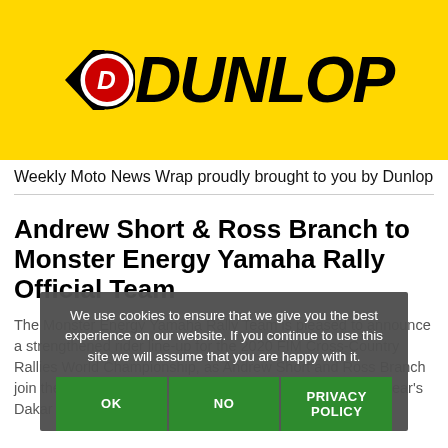[Figure (logo): Dunlop logo on yellow background with black arrow and red circular badge with D]
Weekly Moto News Wrap proudly brought to you by Dunlop
Andrew Short & Ross Branch to Monster Energy Yamaha Rally Official Team
The Monster Energy Yamaha Rally Team is pleased to announce a strengthened rider line-up for the 2020 FIM Cross-Country Rallies World Championship, as Andrew Short and Ross Branch join the team. Both riders showed impressive pace at this year's Dakar Rally and look set to
We use cookies to ensure that we give you the best experience on our website. If you continue to use this site we will assume that you are happy with it.